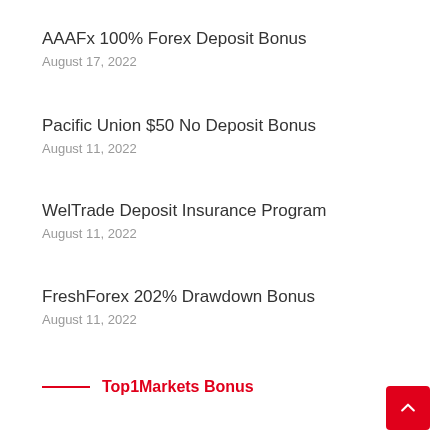AAAFx 100% Forex Deposit Bonus
August 17, 2022
Pacific Union $50 No Deposit Bonus
August 11, 2022
WelTrade Deposit Insurance Program
August 11, 2022
FreshForex 202% Drawdown Bonus
August 11, 2022
Top1Markets Bonus